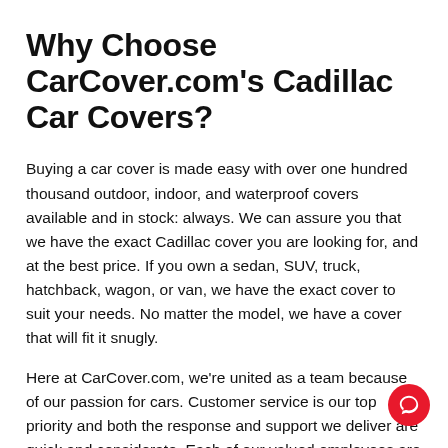Why Choose CarCover.com's Cadillac Car Covers?
Buying a car cover is made easy with over one hundred thousand outdoor, indoor, and waterproof covers available and in stock: always. We can assure you that we have the exact Cadillac cover you are looking for, and at the best price. If you own a sedan, SUV, truck, hatchback, wagon, or van, we have the exact cover to suit your needs. No matter the model, we have a cover that will fit it snugly.
Here at CarCover.com, we're united as a team because of our passion for cars. Customer service is our top priority and both the response and support we deliver are quick and considerate. Each of our valued employees are happy to help and are on standby waiting for you to call or chat 24/7.
For a limited time, enjoy free shipping and a lifetime warranty on all orders. CarCover.com provides a best price guarantee and 30-day no questions asked return policy. You can call our toll-free customer service number to inform our staff of a